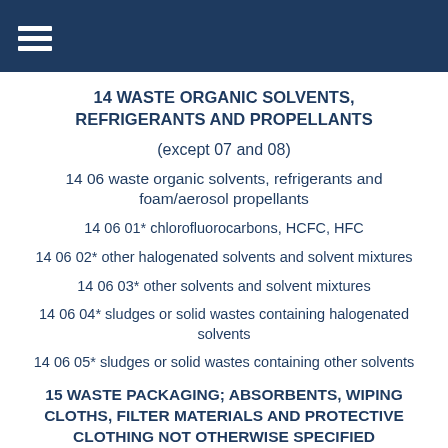14 WASTE ORGANIC SOLVENTS, REFRIGERANTS AND PROPELLANTS
(except 07 and 08)
14 06 waste organic solvents, refrigerants and foam/aerosol propellants
14 06 01* chlorofluorocarbons, HCFC, HFC
14 06 02* other halogenated solvents and solvent mixtures
14 06 03* other solvents and solvent mixtures
14 06 04* sludges or solid wastes containing halogenated solvents
14 06 05* sludges or solid wastes containing other solvents
15 WASTE PACKAGING; ABSORBENTS, WIPING CLOTHS, FILTER MATERIALS AND PROTECTIVE CLOTHING NOT OTHERWISE SPECIFIED